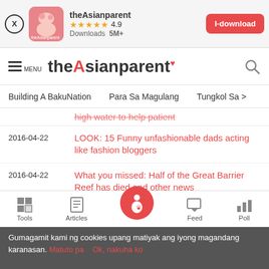[Figure (screenshot): App install banner for theAsianparent with icon, rating 4.9 stars, Downloads 5M+, and I-download button]
theAsianparent — MENU, navigation bar with search icon
Building A BakuNation   Para Sa Magulang   Tungkol Sa >
high water to help patient
2016-04-22   LOOK: 15 Funny unfashionable dads acting like fashion bloggers
2016-04-22   What you missed: Half of the Great Barrier Reef has died and other news
2016-04-22   Parent guilt: hysterical video has parents confess their biggest slip-ups
2016-04-22   Beware: Ten-month-old baby dies in an ill-
Tools  Articles  [home/pregnant icon]  Feed  Poll
Gumagamit kami ng cookies upang matiyak ang iyong magandang karanasan. Matuto pa   Ok, nakuha ko